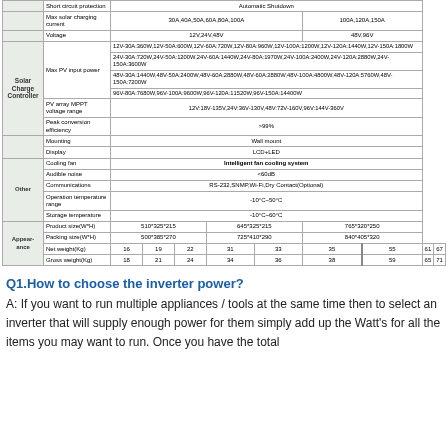| Category | Parameter | Value1 | Value2 | Value3 |
| --- | --- | --- | --- | --- |
|  | Short circuit protection | Automatic Shutdown |  |  |
|  | Max solar charging current | 30A,40A,50A,60A,80A,100A |  | 100A,120A,150A |
|  | Voltage | 12V,24V,48V |  | 48V,96V |
| Solar Charge Controller | Max PV input power | 12V-30A:360W,12V-50A:600W,12V-60A:720W,12V-80A:960W,12V-100A:1200W,12V-120A:1440W,12V-150A:1800W; 24V-30A:720W,24V-50A:1200W,24V-60A:1440W,24V-80A:1970W,24V-100A:2400W,24V-120A:2880W,24V-150A:3600W; 48V-30A:1440W,48V-50A:2400W,48V-60A:2880W,48V-60A:2880W,48V-100A:4800W,48V-120A:5760W,48V-150A:7200W; 96V-80A:7680W,96V-100A:9600W,96V-120A:11520W,96V-150A:14400W |  |  |
|  | PV array MPPT voltage range | 12V:18V-135V,24V:36V-130V,48V:72V-160V,96V:144V-360V |  |  |
|  | Peak conversion efficiency | >99% |  |  |
|  | Mounting | Wall mount |  |  |
|  | Display | LCD+LED |  |  |
| Other | Cooling fan | Intelligent fan cooling system |  |  |
|  | Audible noise | <60dB |  |  |
|  | Communications | RS-232,SNMP,Wi-Fi,Dry Contact(Optional) |  |  |
|  | Operation temperature range | -10°C~50°C |  |  |
|  | Storage temperature | -10°C~60°C |  |  |
| Appearance | Product size(W*H) | 510*325*215 | 645*325*215 | 765*320*250 |
|  | Packing size(W*H) | 500*385*270 | 725*410*290 | 840*405*320 |
|  | Net weight(Kg) | 16 / 19 / 22 / 31 | 33 / 35 | 55 / 61 / 67 |
|  | Gross weight(Kg) | 18 / 21 / 24 / 34 | 36 / 38 | 59 / 65 / 71 |
Q1.How to choose the inverter power?
A: If you want to run multiple appliances / tools at the same time then to select an inverter that will supply enough power for them simply add up the Watt's for all the items you may want to run. Once you have the total